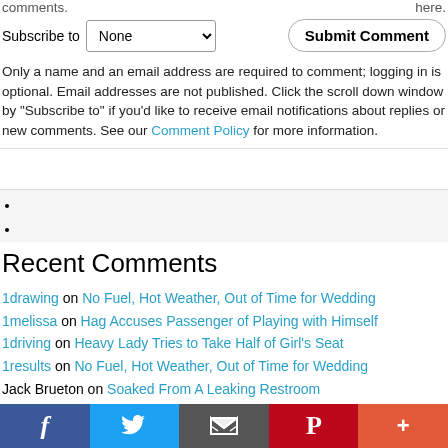comments.
Subscribe to [None dropdown]   Submit Comment
Only a name and an email address are required to comment; logging in is optional. Email addresses are not published. Click the scroll down window by "Subscribe to" if you'd like to receive email notifications about replies or new comments. See our Comment Policy for more information.
Recent Comments
1drawing on No Fuel, Hot Weather, Out of Time for Wedding
1melissa on Hag Accuses Passenger of Playing with Himself
1driving on Heavy Lady Tries to Take Half of Girl's Seat
1results on No Fuel, Hot Weather, Out of Time for Wedding
Jack Brueton on Soaked From A Leaking Restroom
Mario Riservato on Kid Kicks Seat, Passenger Kicks Butt
ave on The Brat
Facebook | Twitter | Email | Pinterest | More